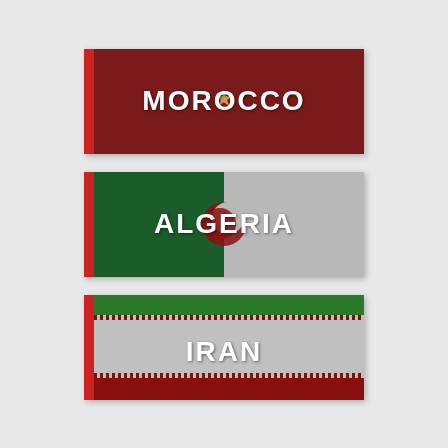[Figure (illustration): Morocco flag card with dark red background and small star, text MOROCCO in white bold uppercase]
[Figure (illustration): Algeria flag card with green left half and grey right half, crescent symbol, text ALGERIA in white bold uppercase]
[Figure (illustration): Iran flag card with green top band, white/grey middle band, red bottom band with decorative borders, text IRAN in white bold uppercase]